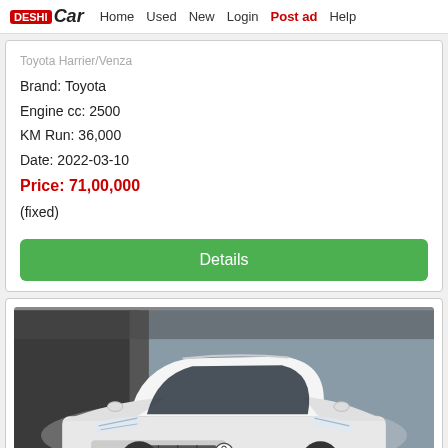DESHI Car  Home  Used  New  Login  Post ad  Help
Brand: Toyota
Engine cc: 2500
KM Run: 36,000
Date: 2022-03-10
Price: 71,00,000
(fixed)
Details
[Figure (photo): White Toyota SUV (Harrier/Venza style) photographed from the front in a studio or showroom. Red oval button overlay reads 'Post Your Ad'.]